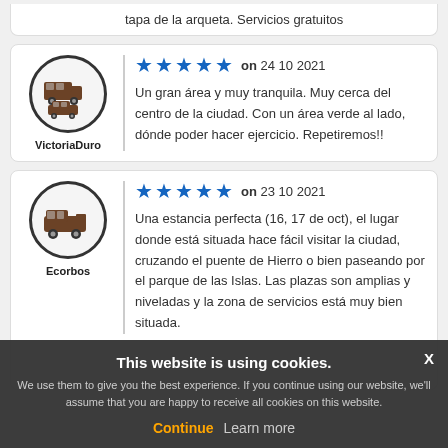tapa de la arqueta. Servicios gratuitos
[Figure (illustration): Motorhome/campervan icon in dark brown inside a circle with thick border — VictoriaDuro profile avatar]
VictoriaDuro
★★★★★ on 24 10 2021
Un gran área y muy tranquila. Muy cerca del centro de la ciudad. Con un área verde al lado, dónde poder hacer ejercicio. Repetiremos!!
[Figure (illustration): Motorhome/campervan icon in dark brown inside a circle with thick border — Ecorbos profile avatar]
Ecorbos
★★★★★ on 23 10 2021
Una estancia perfecta (16, 17 de oct), el lugar donde está situada hace fácil visitar la ciudad, cruzando el puente de Hierro o bien paseando por el parque de las Islas. Las plazas son amplias y niveladas y la zona de servicios está muy bien situada.
This website is using cookies. We use them to give you the best experience. If you continue using our website, we'll assume that you are happy to receive all cookies on this website.
Continue  Learn more